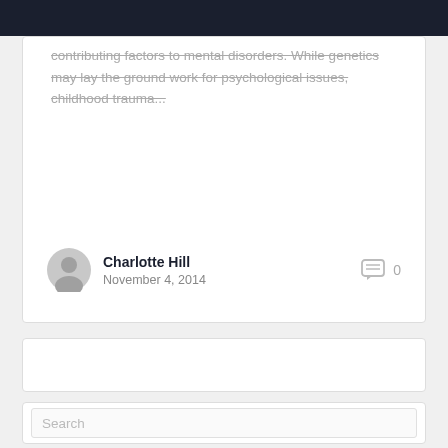contributing factors to mental disorders. While genetics may lay the ground work for psychological issues, childhood trauma...
Charlotte Hill
November 4, 2014
0
[Figure (other): Empty white card widget]
[Figure (other): Search box widget with placeholder text 'Search']